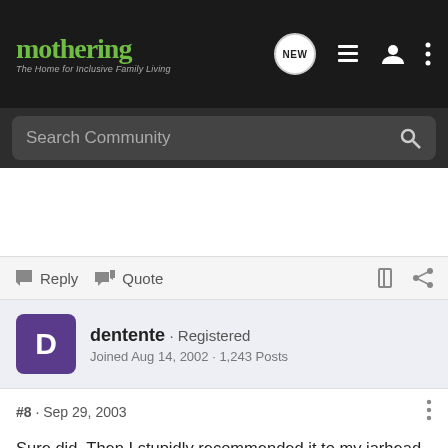[Figure (screenshot): Mothering community website navbar with logo, NEW chat icon, list icon, user icon, and menu icon]
[Figure (screenshot): Search Community search bar on dark background]
Reply  Quote
dentente · Registered
Joined Aug 14, 2002 · 1,243 Posts
#8 · Sep 29, 2003
Sure did. Then I stupidly recommended it to my jarhead pal and he ended up having a little nervous breakdown. It so perfectly echoed his own bitter experience. I felt really rotten after that episode but we are closer pals now that he was able to read the